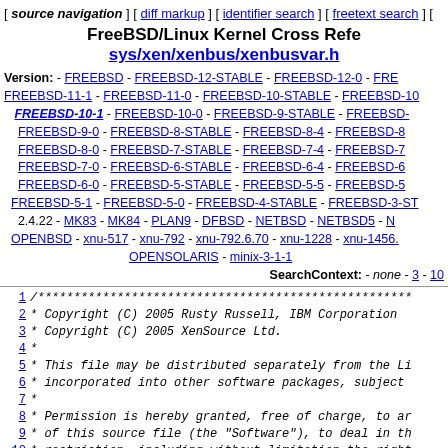[ source navigation ] [ diff markup ] [ identifier search ] [ freetext search ] [
FreeBSD/Linux Kernel Cross Refe sys/xen/xenbus/xenbusvar.h
Version: - FREEBSD - FREEBSD-12-STABLE - FREEBSD-12-0 - FREEBSD-11-1 - FREEBSD-11-0 - FREEBSD-10-STABLE - FREEBSD-10 - FREEBSD-10-1 - FREEBSD-10-0 - FREEBSD-9-STABLE - FREEBSD- FREEBSD-9-0 - FREEBSD-8-STABLE - FREEBSD-8-4 - FREEBSD-8 FREEBSD-8-0 - FREEBSD-7-STABLE - FREEBSD-7-4 - FREEBSD-7 FREEBSD-7-0 - FREEBSD-6-STABLE - FREEBSD-6-4 - FREEBSD-6 FREEBSD-6-0 - FREEBSD-5-STABLE - FREEBSD-5-5 - FREEBSD-5 FREEBSD-5-1 - FREEBSD-5-0 - FREEBSD-4-STABLE - FREEBSD-3-ST 2.4.22 - MK83 - MK84 - PLAN9 - DFBSD - NETBSD - NETBSD5 - OPENBSD - xnu-517 - xnu-792 - xnu-792.6.70 - xnu-1228 - xnu-1456. OPENSOLARIS - minix-3-1-1
SearchContext: - none - 3 - 10
1  /****************************************************
2   * Copyright (C) 2005 Rusty Russell, IBM Corporation
3   * Copyright (C) 2005 XenSource Ltd.
4   *
5   * This file may be distributed separately from the Li
6   * incorporated into other software packages, subject
7   *
8   * Permission is hereby granted, free of charge, to ar
9   * of this source file (the "Software"), to deal in th
10  * restriction, including without limitation the right
11  * merge, publish, distribute, sublicense, and/or se